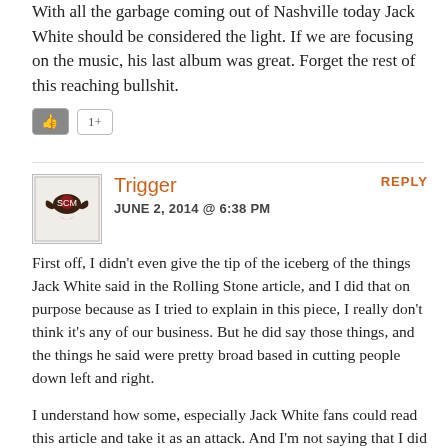With all the garbage coming out of Nashville today Jack White should be considered the light. If we are focusing on the music, his last album was great. Forget the rest of this reaching bullshit.
Trigger
JUNE 2, 2014 @ 6:38 PM
REPLY
First off, I didn't even give the tip of the iceberg of the things Jack White said in the Rolling Stone article, and I did that on purpose because as I tried to explain in this piece, I really don't think it's any of our business. But he did say those things, and the things he said were pretty broad based in cutting people down left and right.
I understand how some, especially Jack White fans could read this article and take it as an attack. And I'm not saying that I did not have some negative things to say about him. But more my point was to try to explain how public sentiment has shifted on him, and why, and how some of it is valid, and some of it is invalid. My global point was to point out that we put so many of these artists on pedestals and expect them to be superhuman without personal problems, and by doing that, we set them up to fail. In the end, as fans we should focus